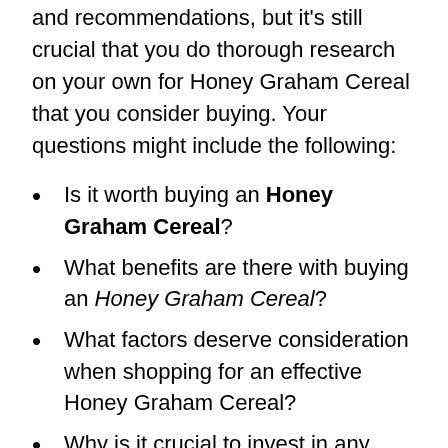and recommendations, but it’s still crucial that you do thorough research on your own for Honey Graham Cereal that you consider buying. Your questions might include the following:
Is it worth buying an Honey Graham Cereal?
What benefits are there with buying an Honey Graham Cereal?
What factors deserve consideration when shopping for an effective Honey Graham Cereal?
Why is it crucial to invest in any Honey Graham Cereal, much less the best one?
Which Honey Graham Cereal are good in the